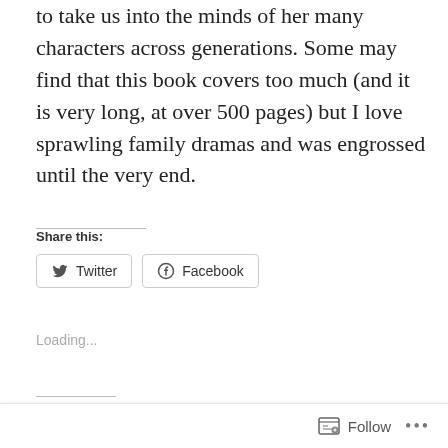The prose is tight and uncomplicated, but Lee manages to take us into the minds of her many characters across generations. Some may find that this book covers too much (and it is very long, at over 500 pages) but I love sprawling family dramas and was engrossed until the very end.
Share this:
Twitter
Facebook
Loading...
Related
The Fragments Review...
Those Who Still Love Review...
Follow